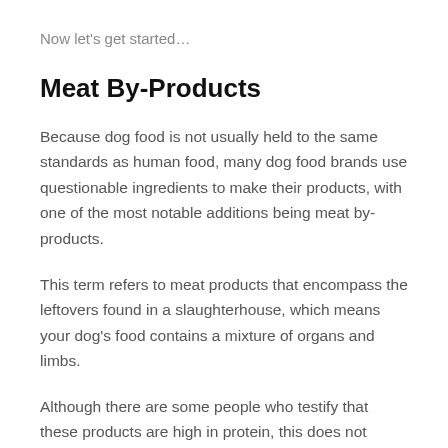Now let's get started…
Meat By-Products
Because dog food is not usually held to the same standards as human food, many dog food brands use questionable ingredients to make their products, with one of the most notable additions being meat by-products.
This term refers to meat products that encompass the leftovers found in a slaughterhouse, which means your dog's food contains a mixture of organs and limbs.
Although there are some people who testify that these products are high in protein, this does not